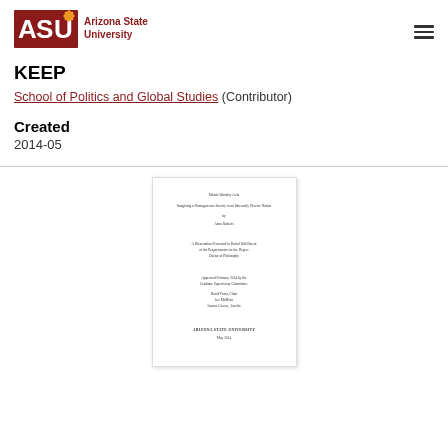[Figure (logo): Arizona State University logo with ASU letters in maroon/gold and sun icon, followed by text 'Arizona State University']
KEEP
School of Politics and Global Studies (Contributor)
Created
2014-05
[Figure (screenshot): Thumbnail image of a document title page showing a dissertation or thesis from Arizona State University, dated May 2014, with committee members listed]